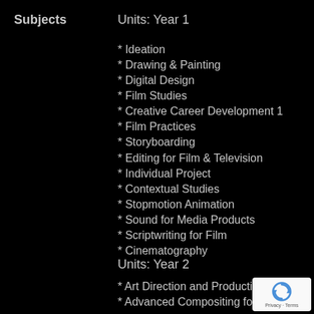Subjects
Units: Year 1
* Ideation
* Drawing & Painting
* Digital Design
* Film Studies
* Creative Career Development 1
* Film Practices
* Storyboarding
* Editing for Film & Television
* Individual Project
* Contextual Studies
* Stopmotion Animation
* Sound for Media Products
* Scriptwriting for Film
* Cinematography
Units: Year 2
* Art Direction and Production D…
* Advanced Compositing for Film…